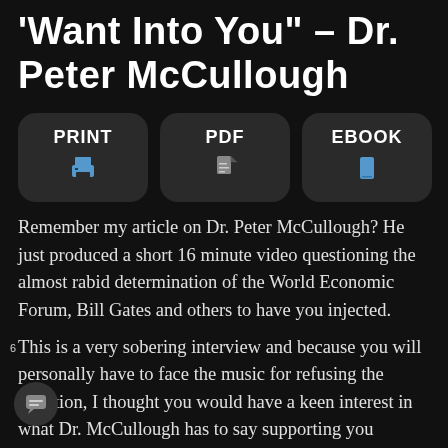'Want Into You' – Dr. Peter McCullough
[Figure (infographic): Three rounded rectangle buttons labeled PRINT (with printer icon), PDF (with document icon), and EBOOK (with tablet icon) on dark background]
Remember my article on Dr. Peter McCullough? He just produced a short 16 minute video questioning the almost rabid determination of the World Economic Forum, Bill Gates and others to have you injected.
This is a very sobering interview and because you will personally have to face the music for refusing the injection, I thought you would have a keen interest in what Dr. McCullough has to say supporting you
6